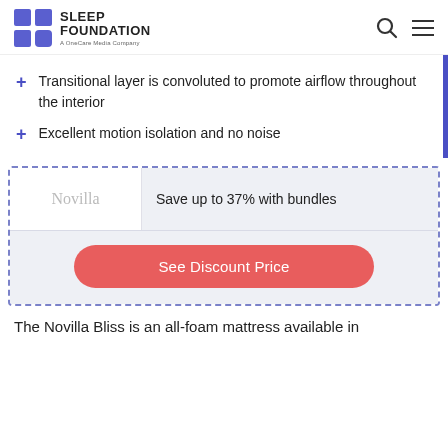Sleep Foundation — A OneCare Media Company
Transitional layer is convoluted to promote airflow throughout the interior
Excellent motion isolation and no noise
Novilla — Save up to 37% with bundles
See Discount Price
The Novilla Bliss is an all-foam mattress available in